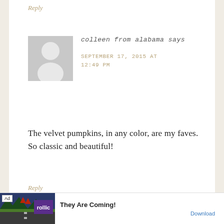Reply
[Figure (photo): Default grey avatar placeholder showing a person silhouette]
colleen from alabama says
SEPTEMBER 17, 2015 AT 12:49 PM
The velvet pumpkins, in any color, are my faves. So classic and beautiful!
Reply
[Figure (screenshot): Ad banner: 'They Are Coming!' game advertisement with Rollic logo and Download link]